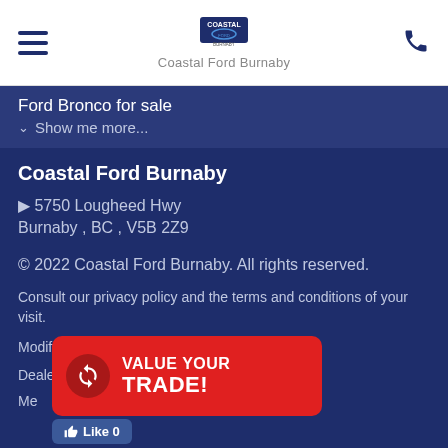Coastal Ford Burnaby
Ford Bronco for sale
Show me more...
Coastal Ford Burnaby
5750 Lougheed Hwy Burnaby , BC , V5B 2Z9
© 2022 Coastal Ford Burnaby. All rights reserved.
Consult our privacy policy and the terms and conditions of your visit.
Modify your communications preferences.
Dealer Website and Dealer CRM by D2C Media.
Me...ubaine network.
[Figure (other): VALUE YOUR TRADE! promotional badge overlay in red]
[Figure (other): Facebook Like button]